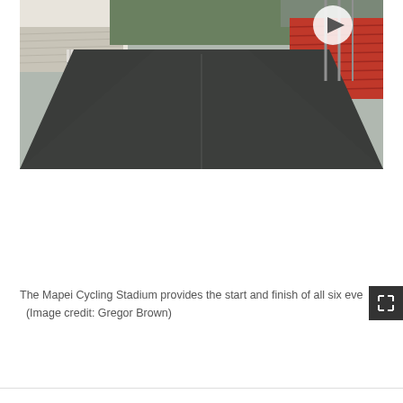[Figure (photo): A cycling stadium road/track with dark asphalt surface stretching into the distance. On the left side are metal barriers and grandstands with covered seating. On the right side are red stadium seats and green grass. A play button overlay is visible in the upper right of the image.]
The Mapei Cycling Stadium provides the start and finish of all six eve... (Image credit: Gregor Brown)